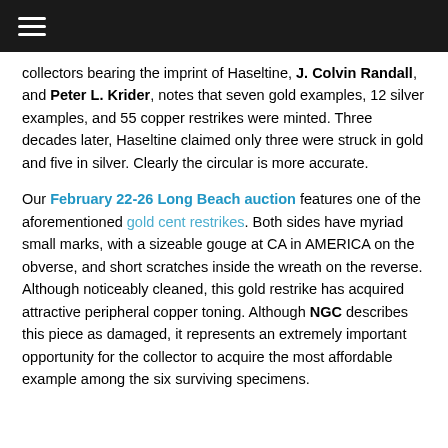☰
collectors bearing the imprint of Haseltine, J. Colvin Randall, and Peter L. Krider, notes that seven gold examples, 12 silver examples, and 55 copper restrikes were minted. Three decades later, Haseltine claimed only three were struck in gold and five in silver. Clearly the circular is more accurate.
Our February 22-26 Long Beach auction features one of the aforementioned gold cent restrikes. Both sides have myriad small marks, with a sizeable gouge at CA in AMERICA on the obverse, and short scratches inside the wreath on the reverse. Although noticeably cleaned, this gold restrike has acquired attractive peripheral copper toning. Although NGC describes this piece as damaged, it represents an extremely important opportunity for the collector to acquire the most affordable example among the six surviving specimens.